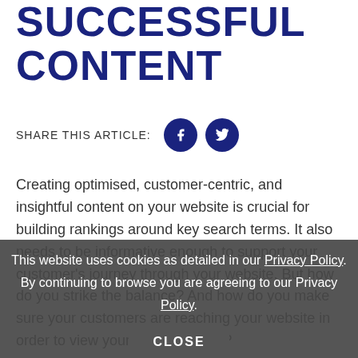SUCCESSFUL CONTENT
SHARE THIS ARTICLE:
[Figure (other): Social sharing icons: Facebook (f) and Twitter (bird) as dark blue circular buttons]
Creating optimised, customer-centric, and insightful content on your website is crucial for building rankings around key search terms. It also needs to be informative enough to support your customer's journey through your website. But how do you strike the balance? And how do you make sure your customers are reaching your website in order to view your onsite content?
you need help from a strong offsite presence. This is where solid offsite content is vital to your strategy, extending your brand name out before an audience of potential customers.
This website uses cookies as detailed in our Privacy Policy. By continuing to browse you are agreeing to our Privacy Policy.
CLOSE